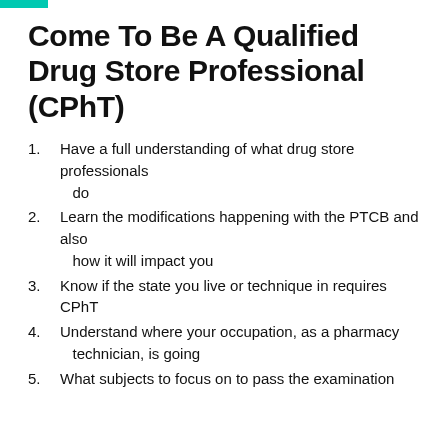Come To Be A Qualified Drug Store Professional (CPhT)
Have a full understanding of what drug store professionals do
Learn the modifications happening with the PTCB and also how it will impact you
Know if the state you live or technique in requires CPhT
Understand where your occupation, as a pharmacy technician, is going
What subjects to focus on to pass the examination